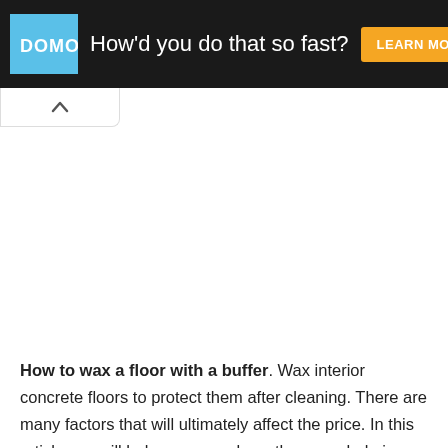[Figure (screenshot): Advertisement banner for DOMO with dark background. DOMO blue logo on left, white text 'How’d you do that so fast?' in center, orange 'LEARN MORE' button on right.]
[Figure (screenshot): Collapse/minimize tab button with upward chevron arrow, white background with light border, positioned below the ad banner.]
How to wax a floor with a buffer. Wax interior concrete floors to protect them after cleaning. There are many factors that will ultimately affect the price. In this article, we will help you pare down the overwhelming list of brands and types of floor buffers to the top ten best floor buffers.